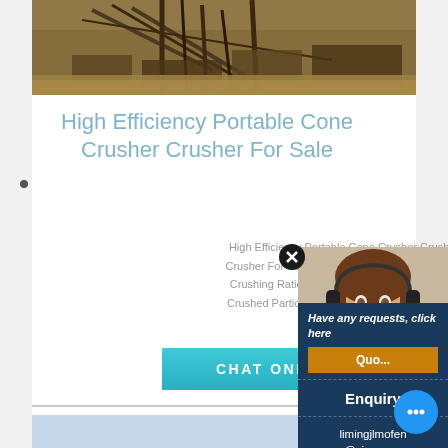[Figure (photo): Industrial mining/crushing machinery photograph showing heavy equipment with metal frames against an outdoor background]
High Efficiency Portable Cone Crusher Crusher For Sale
High Efficiency Portable Cone Crusher Crusher Fo... Crusher For Sale Is A Kind Of Crusher Machine Bec... Crushing Ratio High Efficiency Low Energy Consu... Crushed Particle Size Cone Crusher Machine Is Us...
[Figure (illustration): CHAT ONLINE button (teal/cyan colored call-to-action button)]
[Figure (photo): Customer service agent woman with headset - sidebar overlay]
Have any requests, click here
Quo...
Enquiry
limingjlmofen@sina.com
[Figure (photo): Industrial equipment/crane photograph at bottom of page against blue sky background]